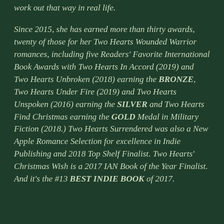work out that way in real life.
Since 2015, she has earned more than thirty awards, twenty of those for her Two Hearts Wounded Warrior romances, including five Readers' Favorite International Book Awards with Two Hearts In Accord (2019) and Two Hearts Unbroken (2018) earning the BRONZE, Two Hearts Under Fire (2019) and Two Hearts Unspoken (2016) earning the SILVER and Two Hearts Find Christmas earning the GOLD Medal in Military Fiction (2018.) Two Hearts Surrendered was also a New Apple Romance Selection for excellence in Indie Publishing and 2018 Top Shelf Finalist. Two Hearts' Christmas Wish is a 2017 IAN Book of the Year Finalist. And it's the #13 BEST INDIE BOOK of 2017.